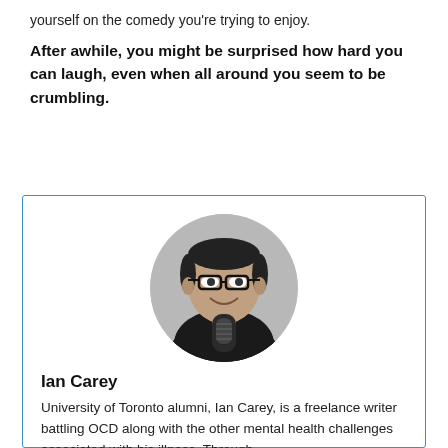yourself on the comedy you're trying to enjoy.
After awhile, you might be surprised how hard you can laugh, even when all around you seem to be crumbling.
[Figure (photo): Black and white circular portrait photo of Ian Carey, a man with glasses and short hair, holding a microphone, smiling.]
Ian Carey
University of Toronto alumni, Ian Carey, is a freelance writer battling OCD along with the other mental health challenges associated with his illness. Through